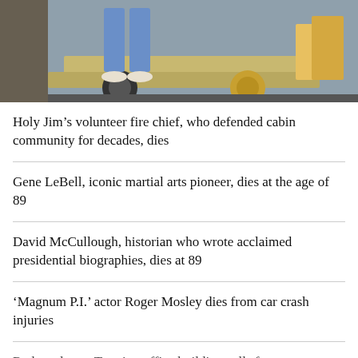[Figure (photo): Photo showing legs and feet of a person wearing jeans and white sneakers, near an old vehicle]
Holy Jim’s volunteer fire chief, who defended cabin community for decades, dies
Gene LeBell, iconic martial arts pioneer, dies at the age of 89
David McCullough, historian who wrote acclaimed presidential biographies, dies at 89
‘Magnum P.I.’ actor Roger Mosley dies from car crash injuries
Redacted text: Traction office building calls for